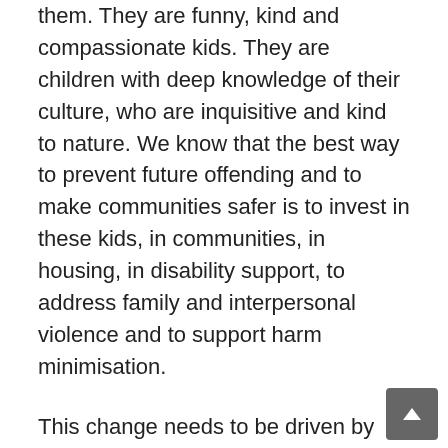them. They are funny, kind and compassionate kids. They are children with deep knowledge of their culture, who are inquisitive and kind to nature. We know that the best way to prevent future offending and to make communities safer is to invest in these kids, in communities, in housing, in disability support, to address family and interpersonal violence and to support harm minimisation.
This change needs to be driven by holistic, trauma informed practice, over time with people these children respect and more importantly with people who respect them. Instead of prison children should have access to mental health support, mentoring, education and skill building opportunities. They should be shown love,